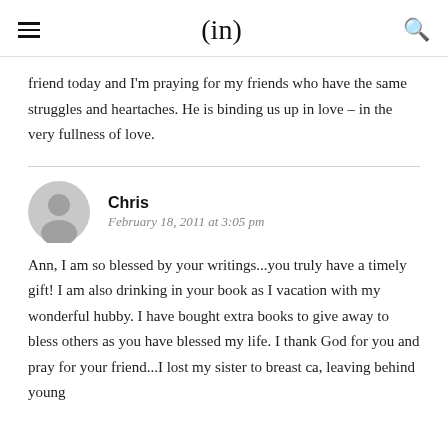(in)
friend today and I'm praying for my friends who have the same struggles and heartaches. He is binding us up in love – in the very fullness of love.
Chris
February 18, 2011 at 3:05 pm
Ann, I am so blessed by your writings...you truly have a timely gift! I am also drinking in your book as I vacation with my wonderful hubby. I have bought extra books to give away to bless others as you have blessed my life. I thank God for you and pray for your friend...I lost my sister to breast ca, leaving behind young